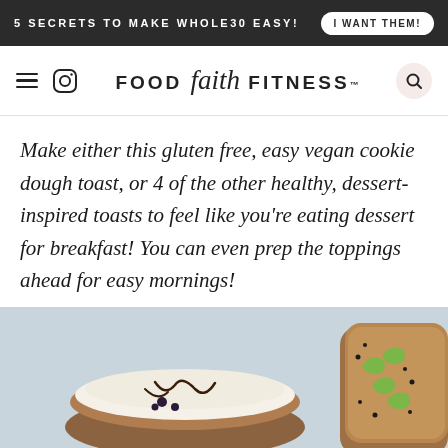5 SECRETS TO MAKE WHOLE30 EASY! | I WANT THEM!
FOOD faith FITNESS
Make either this gluten free, easy vegan cookie dough toast, or 4 of the other healthy, dessert-inspired toasts to feel like you’re eating dessert for breakfast! You can even prep the toppings ahead for easy mornings!
[Figure (photo): Two toast slices on a light blue/grey surface: left toast has white cream and chocolate drizzle with berries; right toast has nut butter and green cashews with black sesame seeds.]